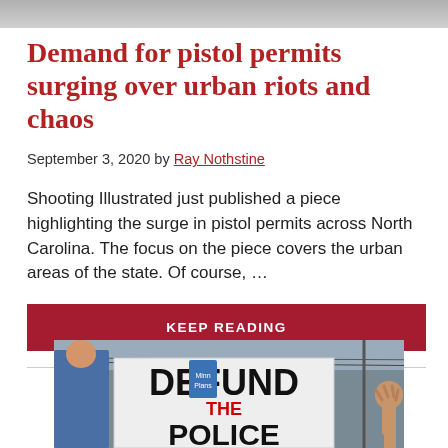[Figure (photo): Top portion of a partially visible image at the top of the page]
Demand for pistol permits surging over urban riots and chaos
September 3, 2020 by Ray Nothstine
Shooting Illustrated just published a piece highlighting the surge in pistol permits across North Carolina. The focus on the piece covers the urban areas of the state. Of course, …
KEEP READING
[Figure (photo): Protesters holding a 'DEFUND THE POLICE' sign at a demonstration, with a hand raised in the air visible on the right side]